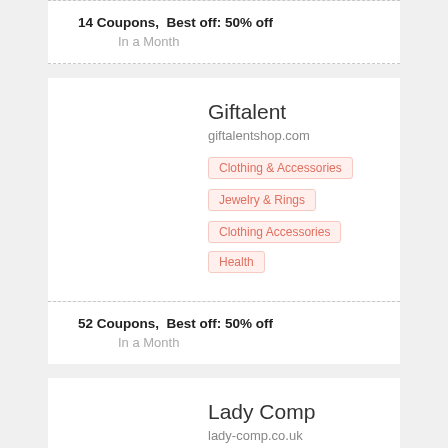14 Coupons,  Best off: 50% off
In a Month
Giftalent
giftalentshop.com
Clothing & Accessories
Jewelry & Rings
Clothing Accessories
Health
52 Coupons,  Best off: 50% off
In a Month
Lady Comp
lady-comp.co.uk